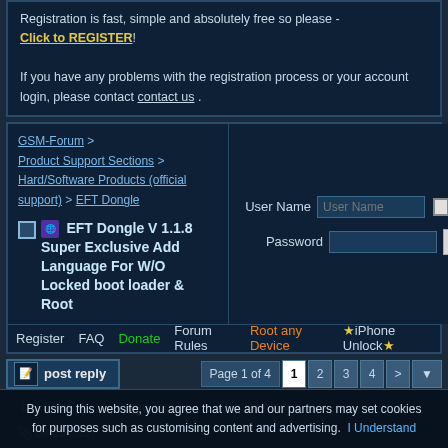Registration is fast, simple and absolutely free so please - Click to REGISTER! If you have any problems with the registration process or your account login, please contact contact us .
GSM-Forum > Product Support Sections > Hard/Software Products (official support) > EFT Dongle
EFT Dongle V 1.1.8 Super Exclusive Add Language For W/O Locked boot loader & Root
User Name | Password | Remember Me? | Log in
Register
FAQ
Donate
Forum Rules
Root any Device
★iPhone Unlock★
post reply
Page 1 of 4  1  2  3  4  >
LinkBack ▼  Thread Tools ▼  Display Modes ▼
08-15-2017
By using this website, you agree that we and our partners may set cookies for purposes such as customising content and advertising. I Understand